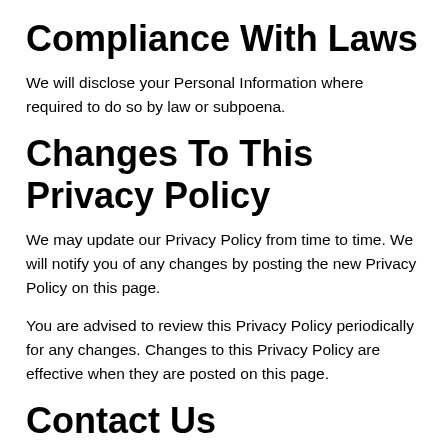Compliance With Laws
We will disclose your Personal Information where required to do so by law or subpoena.
Changes To This Privacy Policy
We may update our Privacy Policy from time to time. We will notify you of any changes by posting the new Privacy Policy on this page.
You are advised to review this Privacy Policy periodically for any changes. Changes to this Privacy Policy are effective when they are posted on this page.
Contact Us
If you have any questions about this Privacy Policy, please